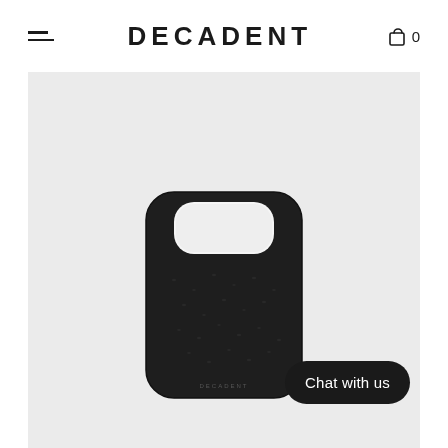≡  DECADENT  🛍 0
[Figure (photo): Black pebbled leather iPhone case (back view) on light gray background. The case has a textured grain finish, camera cutout at top, and a small DECADENT logo embossed at the bottom center.]
Chat with us